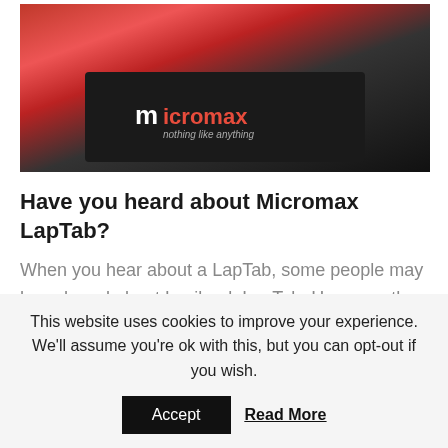[Figure (photo): Photo of a Micromax tablet/laptop device (LapTab) with orange background, showing the Micromax logo and tagline 'nothing like anything']
Have you heard about Micromax LapTab?
When you hear about a LapTab, some people may have heard about Lexibook LapTab. However, the word will have a new meaning with the launch of a new device from Micromax. Laptop + Tablet = LapTab – as the name suggests, its a mix of these two devices. The main [...]
by parimalm × January 8, 2014 × Comments are Disabled
This website uses cookies to improve your experience. We'll assume you're ok with this, but you can opt-out if you wish.